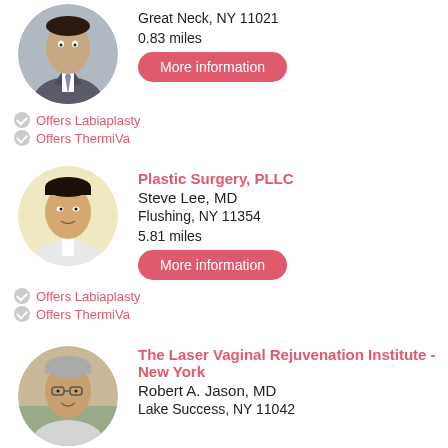[Figure (photo): Headshot of a male doctor in suit and tie, circular crop]
Great Neck, NY 11021
0.83 miles
More information
Offers Labiaplasty
Offers ThermiVa
[Figure (photo): Headshot of Steve Lee MD, Asian male in white coat, circular crop]
Plastic Surgery, PLLC
Steve Lee, MD
Flushing, NY 11354
5.81 miles
More information
Offers Labiaplasty
Offers ThermiVa
[Figure (photo): Headshot of Robert A. Jason MD, older male with glasses, circular crop]
The Laser Vaginal Rejuvenation Institute - New York
Robert A. Jason, MD
Lake Success, NY 11042